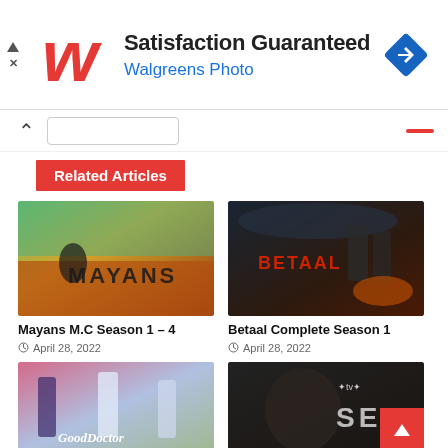[Figure (other): Walgreens Photo advertisement banner with logo, 'Satisfaction Guaranteed' heading, 'Walgreens Photo' subtext, and navigation arrow icon]
Related Articles
[Figure (photo): Mayans M.C TV show promotional image - biker with MAYANS text in desert landscape]
Mayans M.C Season 1 – 4
April 28, 2022
[Figure (photo): Betaal TV show promotional image - soldiers in dark atmospheric setting with BETAAL title]
Betaal Complete Season 1
April 28, 2022
[Figure (photo): The Good Doctor TV show promotional image with cast]
[Figure (photo): SEE Apple TV+ show promotional image with Jason Momoa and SEE title]